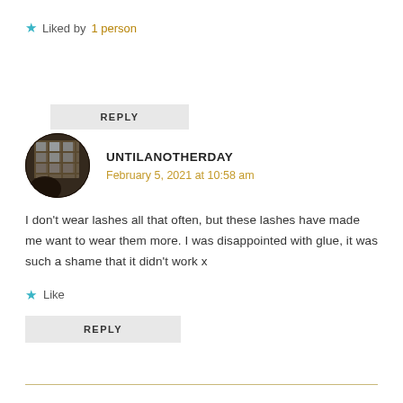★ Liked by 1 person
REPLY
[Figure (photo): Circular avatar photo showing a dark interior with window light]
UNTILANOTHERDAY
February 5, 2021 at 10:58 am
I don't wear lashes all that often, but these lashes have made me want to wear them more. I was disappointed with glue, it was such a shame that it didn't work x
★ Like
REPLY